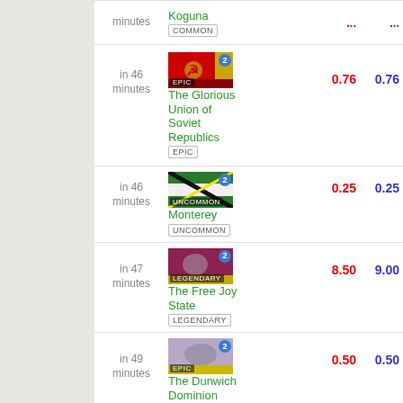| Time | Nation | Val1 | Val2 |
| --- | --- | --- | --- |
| minutes | Koguna
COMMON | ... | ... |
| in 46 minutes | The Glorious Union of Soviet Republics
EPIC | 0.76 | 0.76 |
| in 46 minutes | Monterey
UNCOMMON | 0.25 | 0.25 |
| in 47 minutes | The Free Joy State
LEGENDARY | 8.50 | 9.00 |
| in 49 minutes | The Dunwich Dominion
EPIC | 0.50 | 0.50 |
| in 50 minutes | III
COMMON | 0.01 | 0.02 |
| in 51 minutes | (nation)
COMMON | 0.05 | 0.05 |